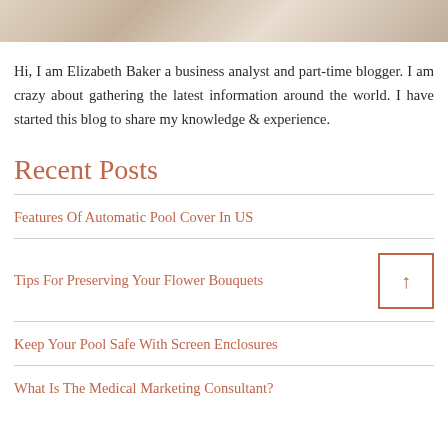[Figure (photo): Partial photo of a person with blonde hair, cropped at top of page]
Hi, I am Elizabeth Baker a business analyst and part-time blogger. I am crazy about gathering the latest information around the world. I have started this blog to share my knowledge & experience.
Recent Posts
Features Of Automatic Pool Cover In US
Tips For Preserving Your Flower Bouquets
Keep Your Pool Safe With Screen Enclosures
What Is The Medical Marketing Consultant?